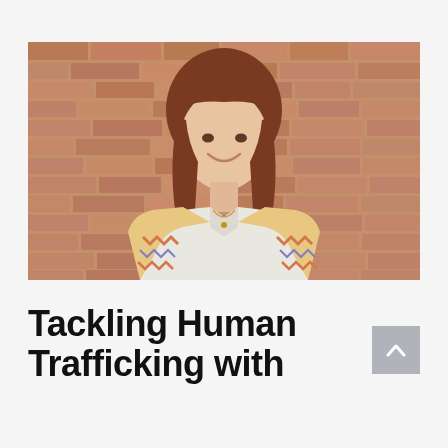[Figure (photo): A woman with reddish-brown hair, smiling, wearing a white blouse and a patterned cardigan with zigzag design, standing in front of a brick wall.]
Tackling Human Trafficking with